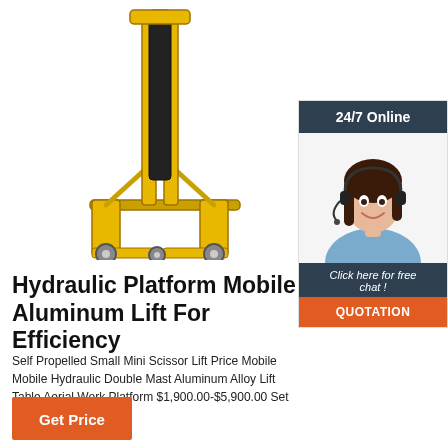[Figure (photo): Yellow hydraulic platform mobile lift / stacker with black mast on white background]
[Figure (infographic): 24/7 Online chat widget with female agent wearing headset, and QUOTATION button]
Hydraulic Platform Mobile Aluminum Lift For Efficiency
Self Propelled Small Mini Scissor Lift Price Mobile Mobile Hydraulic Double Mast Aluminum Alloy Lift Table Aerial Work Platform $1,900.00-$5,900.00 Set 1.0 Sets (Min. Order)
[Figure (other): Get Price orange button]